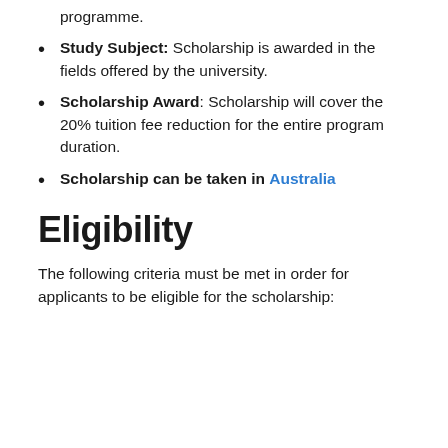programme.
Study Subject: Scholarship is awarded in the fields offered by the university.
Scholarship Award: Scholarship will cover the 20% tuition fee reduction for the entire program duration.
Scholarship can be taken in Australia
Eligibility
The following criteria must be met in order for applicants to be eligible for the scholarship: